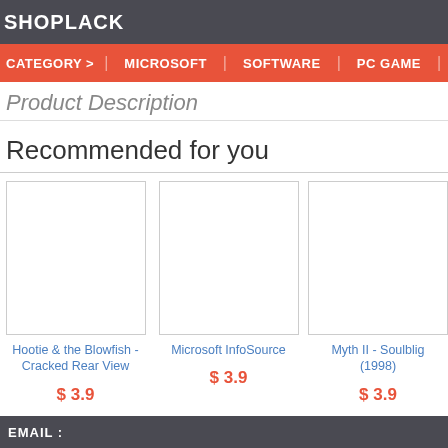SHOPLACK
CATEGORY > | MICROSOFT | SOFTWARE | PC GAME
Product Description
Recommended for you
[Figure (photo): Product image placeholder for Hootie & the Blowfish - Cracked Rear View]
Hootie & the Blowfish - Cracked Rear View
$ 3.9
[Figure (photo): Product image placeholder for Microsoft InfoSource]
Microsoft InfoSource
$ 3.9
[Figure (photo): Product image placeholder for Myth II - Soulblig (1998)]
Myth II - Soulblig (1998)
$ 3.9
EMAIL :